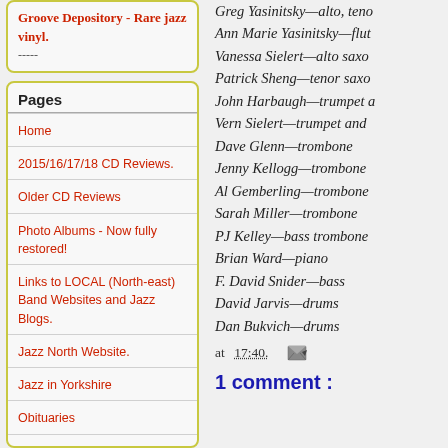Groove Depository - Rare jazz vinyl.
-----
Pages
Home
2015/16/17/18 CD Reviews.
Older CD Reviews
Photo Albums - Now fully restored!
Links to LOCAL (North-east) Band Websites and Jazz Blogs.
Jazz North Website.
Jazz in Yorkshire
Obituaries
Memories of Jazz in the North East
Greg Yasinitsky—alto, teno
Ann Marie Yasinitsky—flut
Vanessa Sielert—alto saxo
Patrick Sheng—tenor saxo
John Harbaugh—trumpet a
Vern Sielert—trumpet and 
Dave Glenn—trombone
Jenny Kellogg—trombone 
Al Gemberling—trombone
Sarah Miller—trombone
PJ Kelley—bass trombone
Brian Ward—piano
F. David Snider—bass
David Jarvis—drums
Dan Bukvich—drums
at 17:40.
1 comment :